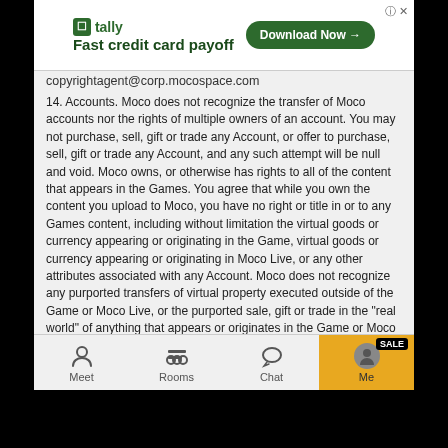[Figure (screenshot): Advertisement banner for Tally app: 'Fast credit card payoff' with Download Now button]
copyrightagent@corp.mocospace.com
14. Accounts. Moco does not recognize the transfer of Moco accounts nor the rights of multiple owners of an account. You may not purchase, sell, gift or trade any Account, or offer to purchase, sell, gift or trade any Account, and any such attempt will be null and void. Moco owns, or otherwise has rights to all of the content that appears in the Games. You agree that while you own the content you upload to Moco, you have no right or title in or to any Games content, including without limitation the virtual goods or currency appearing or originating in the Game, virtual goods or currency appearing or originating in Moco Live, or any other attributes associated with any Account. Moco does not recognize any purported transfers of virtual property executed outside of the Game or Moco Live, or the purported sale, gift or trade in the "real world" of anything that appears or originates in the Game or Moco Live. Likewise, you may not sell in-game items or currency for "real" money, or exchange those items or currency for value outside of the
[Figure (screenshot): Mobile app bottom navigation bar with Meet, Rooms, Chat, and Me (active with SALE badge) tabs]